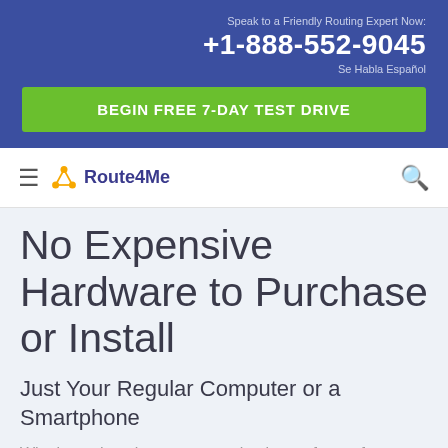Speak to a Friendly Routing Expert Now:
+1-888-552-9045
Se Habla Español
BEGIN FREE 7-DAY TEST DRIVE
[Figure (logo): Route4Me logo with orange/yellow Y-shaped icon and dark blue text]
No Expensive Hardware to Purchase or Install
Just Your Regular Computer or a Smartphone
Why keep throwing money at obsolete software for route planning software that doesn't